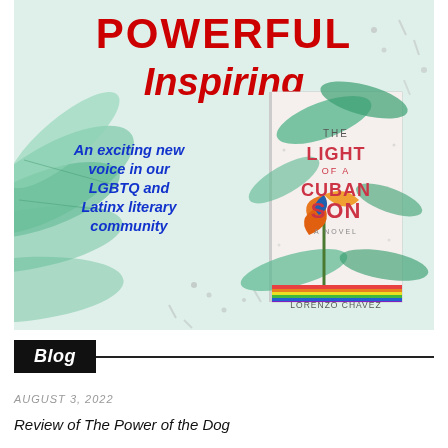[Figure (illustration): Promotional banner for the book 'The Light of a Cuban Son' by Lorenzo Chavez. Large red bold text reads 'POWERFUL' and 'Inspiring'. Blue italic text says 'An exciting new voice in our LGBTQ and Latinx literary community'. A book cover with tropical floral design is shown on the right. Background has green leaf motifs.]
Blog
AUGUST 3, 2022
Review of The Power of the Dog